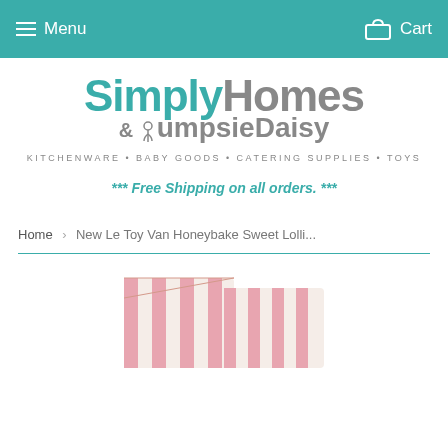Menu  Cart
[Figure (logo): SimplyHomes & BumpsièDaisy logo with tagline: KITCHENWARE • BABY GOODS • CATERING SUPPLIES • TOYS]
*** Free Shipping on all orders. ***
Home › New Le Toy Van Honeybake Sweet Lolli...
[Figure (photo): Product image showing pink and cream striped item (Le Toy Van Honeybake Sweet Lollipop Shop)]